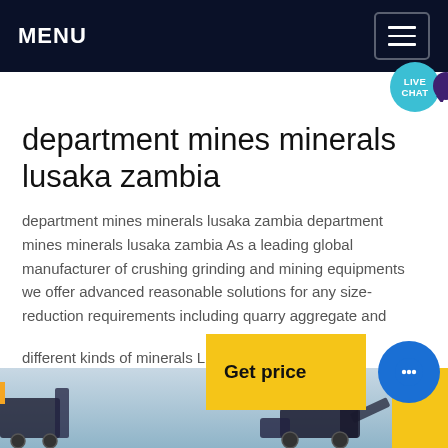MENU
department mines minerals lusaka zambia
department mines minerals lusaka zambia department mines minerals lusaka zambia As a leading global manufacturer of crushing grinding and mining equipments we offer advanced reasonable solutions for any size-reduction requirements including quarry aggregate and
different kinds of minerals Live Chat
[Figure (screenshot): Get price yellow button with blue chat circle icon overlay]
[Figure (photo): Photo strip at bottom showing sky and mining machinery with yellow corner accent]